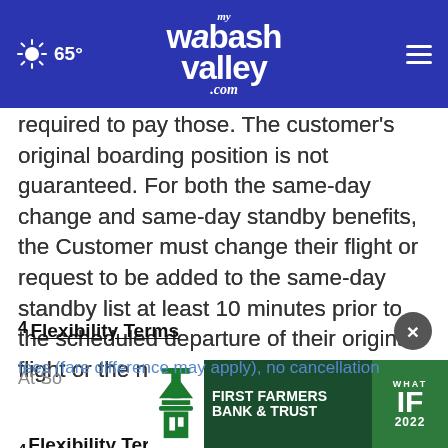65° | myWabashValley.com
required to pay those. The customer's original boarding position is not guaranteed. For both the same-day change and same-day standby benefits, the Customer must change their flight or request to be added to the same-day standby list at least 10 minutes prior to the scheduled departure of their original flight or the no-show policy will apply.
4 Flexibility Terms
At So fees (fare difference may apply), no cancellation
[Figure (logo): First Farmers Bank & Trust advertisement banner with 'WHAT IF 2022' green badge]